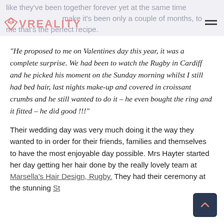like they've been together forever yet at the same time make it's been only a couple of months, to me that's the perfect recipe.
“He proposed to me on Valentines day this year, it was a complete surprise. We had been to watch the Rugby in Cardiff and he picked his moment on the Sunday morning whilst I still had bed hair, last nights make-up and covered in croissant crumbs and he still wanted to do it – he even bought the ring and it fitted – he did good !!!”
Their wedding day was very much doing it the way they wanted to in order for their friends, families and themselves to have the most enjoyable day possible. Mrs Hayter started her day getting her hair done by the really lovely team at Marsella's Hair Design, Rugby. They had their ceremony at the stunning St